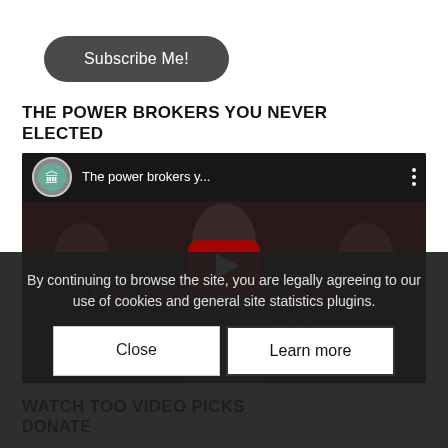Subscribe Me!
THE POWER BROKERS YOU NEVER ELECTED
[Figure (screenshot): YouTube video embed thumbnail showing 'The power brokers y...' with play button, dark background with silhouetted figures and red text reading 'THE POWER BROKERS YOU NEVER ELECTED']
WATCH TOO VIDEO PICKS
By continuing to browse the site, you are legally agreeing to our use of cookies and general site statistics plugins.
Close
Learn more
DONATE